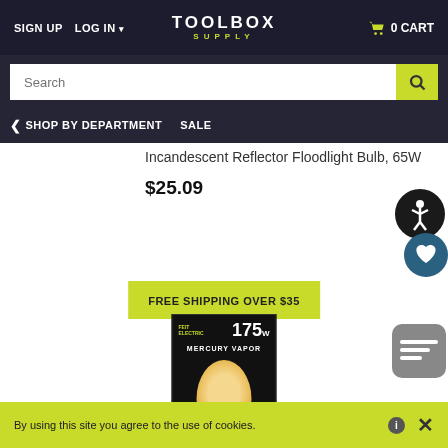SIGN UP  LOG IN  TOOLBOX SUPPLY  0 CART
Search
< SHOP BY DEPARTMENT  SALE
Incandescent Reflector Floodlight Bulb, 65W
$25.09
[Figure (illustration): Accessibility icon - person in circle with wheelchair symbol, dark circle border]
[Figure (illustration): Wishlist heart icon in dark blue/teal color]
FREE SHIPPING OVER $35
[Figure (photo): 175W Mercury Vapor light bulb product in black box packaging]
[Figure (illustration): Chat widget icon in grey rounded square]
By using this site you agree to the use of cookies.